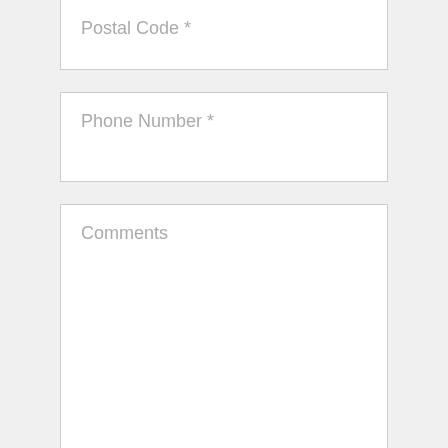Postal Code *
Phone Number *
Comments